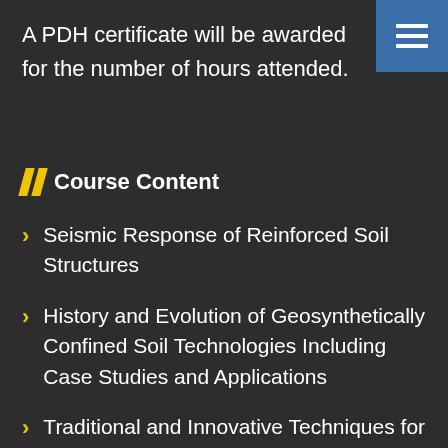A PDH certificate will be awarded for the number of hours attended.
// Course Content
Seismic Response of Reinforced Soil Structures
History and Evolution of Geosynthetically Confined Soil Technologies Including Case Studies and Applications
Traditional and Innovative Techniques for Landslide